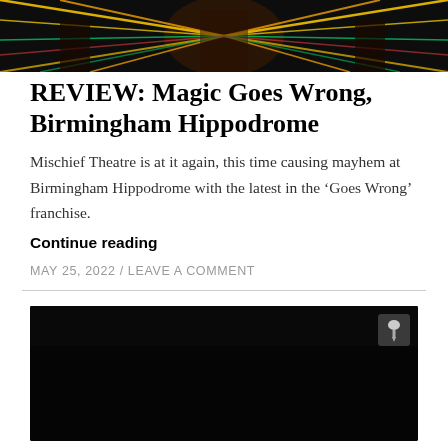[Figure (photo): Stage performance photo with colorful neon/laser light rays on a dark background, performers visible]
REVIEW: Magic Goes Wrong, Birmingham Hippodrome
Mischief Theatre is at it again, this time causing mayhem at Birmingham Hippodrome with the latest in the ‘Goes Wrong’ franchise.
Continue reading
MAY 25, 2022 / LEAVE A COMMENT
[Figure (photo): Dark/black image, partially visible stage or scene, with a pin/bookmark icon in the upper right corner]